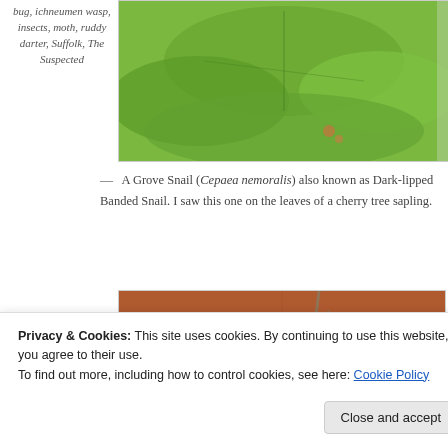bug, ichneumen wasp, insects, moth, ruddy darter, Suffolk, The Suspected
[Figure (photo): Close-up photo of green leaves, likely of a cherry tree sapling, with a snail visible]
— A Grove Snail (Cepaea nemoralis) also known as Dark-lipped Banded Snail. I saw this one on the leaves of a cherry tree sapling.
[Figure (photo): A bee or wasp on yellow flowers with an orange/brown background]
Privacy & Cookies: This site uses cookies. By continuing to use this website, you agree to their use. To find out more, including how to control cookies, see here: Cookie Policy
Close and accept